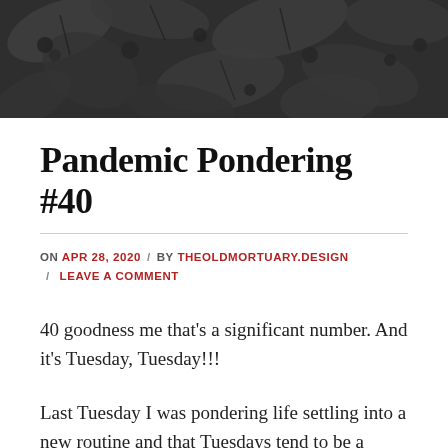[Figure (photo): Black and white macro photograph of plant leaves and berries]
Pandemic Pondering #40
ON APR 28, 2020 / BY THEOLDMORTUARY.DESIGN / LEAVE A COMMENT
40 goodness me that’s a significant number. And it’s Tuesday, Tuesday!!!
Last Tuesday I was pondering life settling into a new routine and that Tuesdays tend to be a chance to run out of